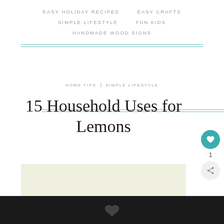EASY HOLIDAY RECIPES   EASY CRAFTS   SIMPLE LIFESTYLE   FUN KIDS   HANDMADE WOOD SIGNS
HOME TIPS / SIMPLE LIFESTYLE
15 Household Uses for Lemons
[Figure (photo): Partial view of an image, light cream/pale yellow background visible at top, dark footer bar at bottom with a small bird/logo icon]